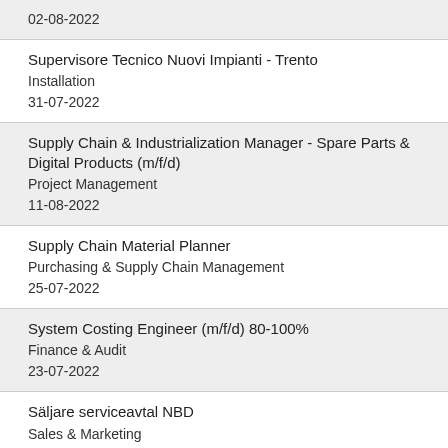02-08-2022
Supervisore Tecnico Nuovi Impianti - Trento
Installation
31-07-2022
Supply Chain & Industrialization Manager - Spare Parts & Digital Products (m/f/d)
Project Management
11-08-2022
Supply Chain Material Planner
Purchasing & Supply Chain Management
25-07-2022
System Costing Engineer (m/f/d) 80-100%
Finance & Audit
23-07-2022
Säljare serviceavtal NBD
Sales & Marketing
03-08-2022
Talent Attraction Senior Specialist